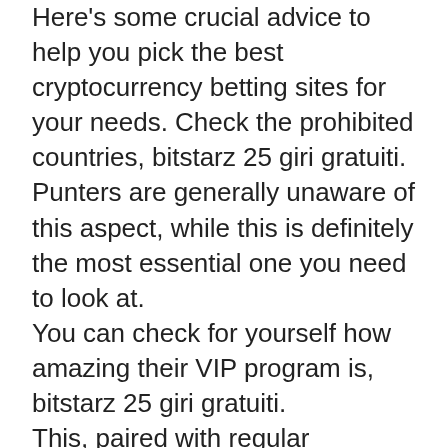Here's some crucial advice to help you pick the best cryptocurrency betting sites for your needs. Check the prohibited countries, bitstarz 25 giri gratuiti. Punters are generally unaware of this aspect, while this is definitely the most essential one you need to look at.
You can check for yourself how amazing their VIP program is, bitstarz 25 giri gratuiti.
This, paired with regular tournaments, giveaways, and amazing prizes, combine to make BitStarz one of the most exciting crypto gambling destinations. Likewise, we just love the speed, friendliness, and professionalism of the BitStarz customer service team. There's no better service on any gambling site online, which makes BitStarz easy to use even for beginners. The icing on the cake is BitStarz lighting-fast withdrawal speeds, with 90% of